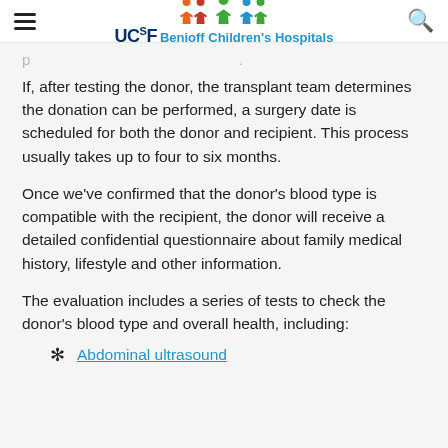UCSF Benioff Children's Hospitals
If, after testing the donor, the transplant team determines the donation can be performed, a surgery date is scheduled for both the donor and recipient. This process usually takes up to four to six months.
Once we've confirmed that the donor's blood type is compatible with the recipient, the donor will receive a detailed confidential questionnaire about family medical history, lifestyle and other information.
The evaluation includes a series of tests to check the donor's blood type and overall health, including:
Abdominal ultrasound